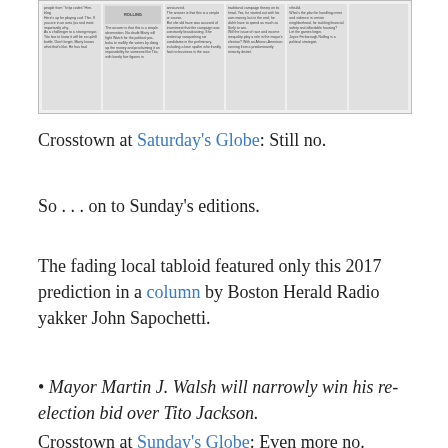[Figure (screenshot): Clipping of a newspaper page with multi-column text layout in small print, showing a political article about a Boston mayoral race.]
Crosstown at Saturday's Globe: Still no.
So . . . on to Sunday's editions.
The fading local tabloid featured only this 2017 prediction in a column by Boston Herald Radio yakker John Sapochetti.
• Mayor Martin J. Walsh will narrowly win his re-election bid over Tito Jackson.
Crosstown at Sunday's Globe: Even more no.